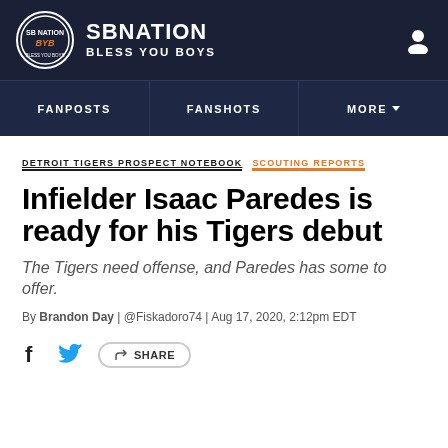SB NATION / BLESS YOU BOYS
FANPOSTS | FANSHOTS | MORE
DETROIT TIGERS PROSPECT NOTEBOOK  SCOUTING REPORTS
Infielder Isaac Paredes is ready for his Tigers debut
The Tigers need offense, and Paredes has some to offer.
By Brandon Day | @Fiskadoro74 | Aug 17, 2020, 2:12pm EDT